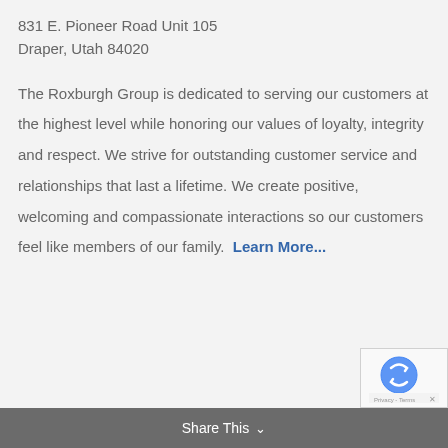831 E. Pioneer Road Unit 105
Draper, Utah 84020
The Roxburgh Group is dedicated to serving our customers at the highest level while honoring our values of loyalty, integrity and respect. We strive for outstanding customer service and relationships that last a lifetime. We create positive, welcoming and compassionate interactions so our customers feel like members of our family.  Learn More...
Share This